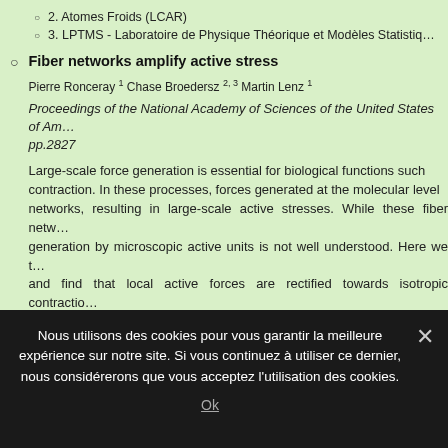2. Atomes Froids (LCAR)
3. LPTMS - Laboratoire de Physique Théorique et Modèles Statistiques
Fiber networks amplify active stress
Pierre Ronceray 1 Chase Broedersz 2, 3 Martin Lenz 1
Proceedings of the National Academy of Sciences of the United States of America pp.2827
Large-scale force generation is essential for biological functions such as muscle contraction. In these processes, forces generated at the molecular level are transmitted by networks, resulting in large-scale active stresses. While these fiber networks are key, stress generation by microscopic active units is not well understood. Here we t... and find that local active forces are rectified towards isotropic contraction... the vicinity of the active units. This stress amplification is reinforced by... densities of active units. Our predictions are quantitatively consistent wi... networks, and shed light on the role of the network microstructure in shapi...
1. LPTMS - Laboratoire de Physique Théorique et Modèles Statistiques
Nous utilisons des cookies pour vous garantir la meilleure expérience sur notre site. Si vous continuez à utiliser ce dernier, nous considérerons que vous acceptez l'utilisation des cookies.
Ok